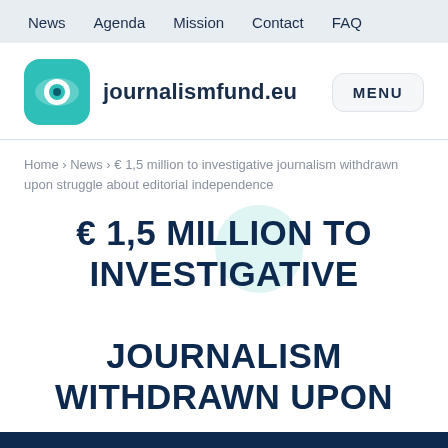News   Agenda   Mission   Contact   FAQ
[Figure (logo): journalismfund.eu logo: teal rounded square with eye icon, beside bold text 'journalismfund.eu', and a MENU button on the right]
Home › News › € 1,5 million to investigative journalism withdrawn upon struggle about editorial independence
€ 1,5 MILLION TO INVESTIGATIVE JOURNALISM WITHDRAWN UPON STRUGGLE ABOUT EDITORIAL INDEPENDENCE